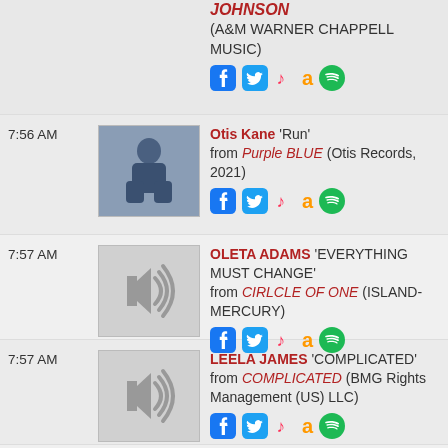VERY BEST OF THE BROTHERS JOHNSON (A&M WARNER CHAPPELL MUSIC)
7:56 AM — Otis Kane 'Run' from Purple BLUE (Otis Records, 2021)
7:57 AM — OLETA ADAMS 'EVERYTHING MUST CHANGE' from CIRLCLE OF ONE (ISLAND-MERCURY)
7:57 AM — LEELA JAMES 'COMPLICATED' from COMPLICATED (BMG Rights Management (US) LLC)
8:10 AM — LEELA JAMES, THE TRUTH BAND